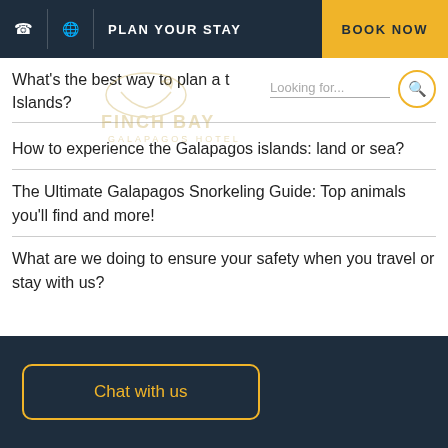PLAN YOUR STAY | BOOK NOW
What's the best way to plan a t Islands?
[Figure (logo): Finch Bay Galapagos Hotel logo — bird silhouette with text FINCH BAY and GALAPAGOS HOTEL]
How to experience the Galapagos islands: land or sea?
The Ultimate Galapagos Snorkeling Guide: Top animals you'll find and more!
What are we doing to ensure your safety when you travel or stay with us?
Chat with us